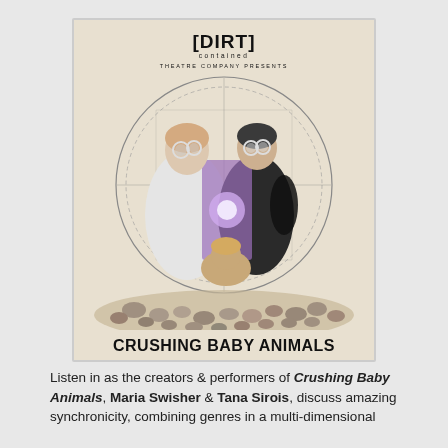[Figure (illustration): Promotional poster for 'Crushing Baby Animals' by [DIRT] contained Theatre Company. Shows two performers in white lab coats and round glasses, one in black gloves, holding a purple-lit frame. A third person crouches below. Surrounded by many small animals on a sandy background. A circular maze-like symbol in the background.]
Listen in as the creators & performers of Crushing Baby Animals, Maria Swisher & Tana Sirois, discuss amazing synchronicity, combining genres in a multi-dimensional